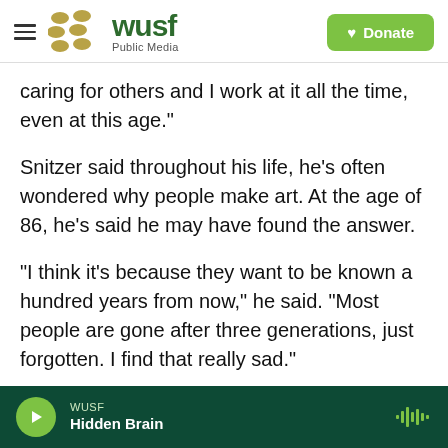WUSF Public Media — Donate
caring for others and I work at it all the time, even at this age."
Snitzer said throughout his life, he's often wondered why people make art. At the age of 86, he's said he may have found the answer.
"I think it's because they want to be known a hundred years from now," he said. "Most people are gone after three generations, just forgotten. I find that really sad."
So, he said, maybe all he's really doing is saying
WUSF — Hidden Brain